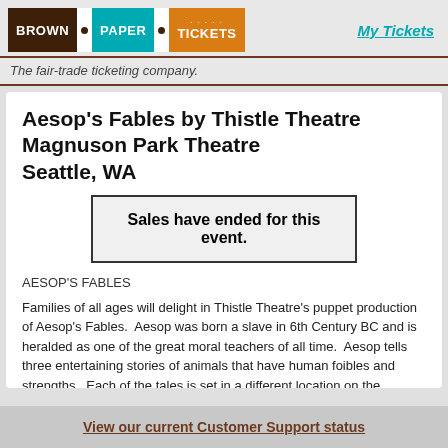[Figure (logo): Brown Paper Tickets logo with three colored blocks: brown, teal, orange]
My Tickets
The fair-trade ticketing company.
Aesop's Fables by Thistle Theatre
Magnuson Park Theatre
Seattle, WA
Sales have ended for this event.
AESOP'S FABLES
Families of all ages will delight in Thistle Theatre's puppet production of Aesop's Fables.  Aesop was born a slave in 6th Century BC and is heralded as one of the great moral teachers of all time.  Aesop tells three entertaining stories of animals that have human foibles and strengths.  Each of the tales is set in a different location on the Mediterranean Sea.
The first fable, "The Raven and the Swan", is set in Greece and comically illustrates the lesson that true beauty is found within.  Traveling to Egypt...
View our current Customer Support status